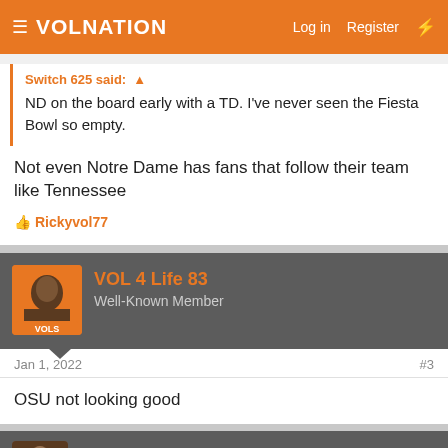VolNation — Log in  Register
Switch 625 said: ND on the board early with a TD. I've never seen the Fiesta Bowl so empty.
Not even Notre Dame has fans that follow their team like Tennessee
👍 Rickyvol77
VOL 4 Life 83
Well-Known Member
Jan 1, 2022
#3
OSU not looking good
Switch 625